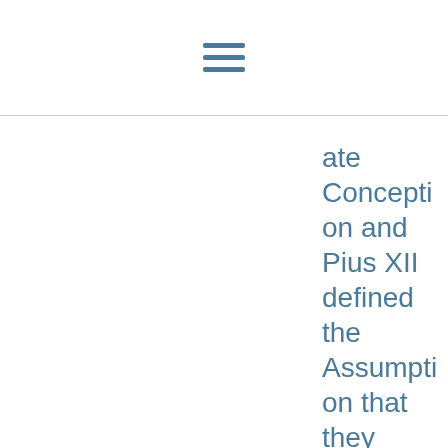[menu icon]
ate Conception and Pius XII defined the Assumption that they were intending to bind